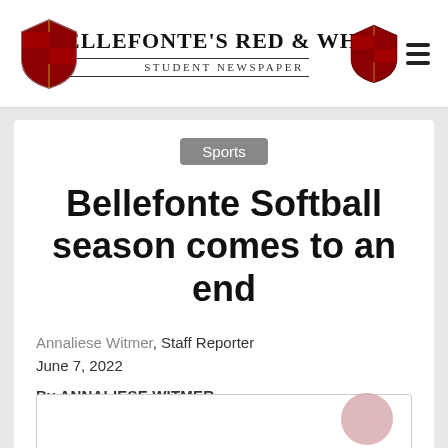Bellefonte's Red & White — Student Newspaper
Sports
Bellefonte Softball season comes to an end
Annaliese Witmer, Staff Reporter
June 7, 2022
By ANNALIESE WITMER